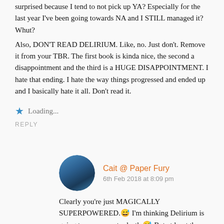surprised because I tend to not pick up YA? Especially for the last year I've been going towards NA and I STILL managed it? Whut?
Also, DON'T READ DELIRIUM. Like, no. Just don't. Remove it from your TBR. The first book is kinda nice, the second a disappointment and the third is a HUGE DISAPPOINTMENT. I hate that ending. I hate the way things progressed and ended up and I basically hate it all. Don't read it.
Loading...
REPLY
Cait @ Paper Fury
6th Feb 2018 at 8:09 pm
Clearly you're just MAGICALLY SUPERPOWERED.😅 I'm thinking Delirium is going to annoy me to death.😅 But at least the hardcovers are